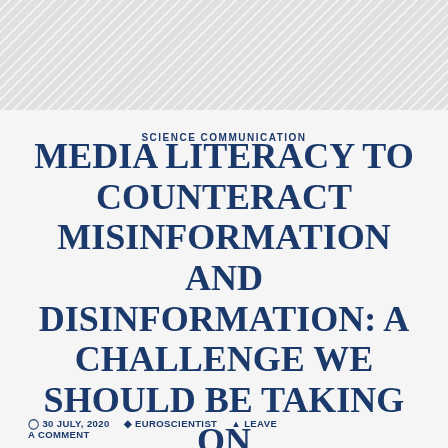SCIENCE COMMUNICATION
MEDIA LITERACY TO COUNTERACT MISINFORMATION AND DISINFORMATION: A CHALLENGE WE SHOULD BE TAKING ON
30 JULY, 2020  EUROSCIENTIST  LEAVE A COMMENT